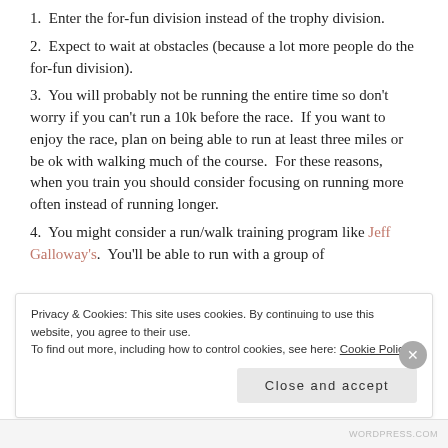1.  Enter the for-fun division instead of the trophy division.
2.  Expect to wait at obstacles (because a lot more people do the for-fun division).
3.  You will probably not be running the entire time so don't worry if you can't run a 10k before the race.  If you want to enjoy the race, plan on being able to run at least three miles or be ok with walking much of the course.  For these reasons, when you train you should consider focusing on running more often instead of running longer.
4.  You might consider a run/walk training program like Jeff Galloway's.  You'll be able to run with a group of
Privacy & Cookies: This site uses cookies. By continuing to use this website, you agree to their use.
To find out more, including how to control cookies, see here: Cookie Policy
Close and accept